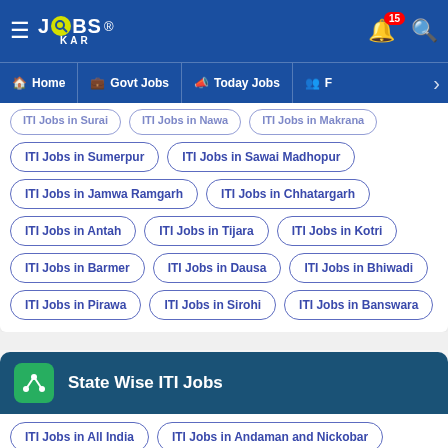JOBS KAR — Home | Govt Jobs | Today Jobs | F
ITI Jobs in Surai (partial)
ITI Jobs in Nawa (partial)
ITI Jobs in Makrana (partial)
ITI Jobs in Sumerpur
ITI Jobs in Sawai Madhopur
ITI Jobs in Jamwa Ramgarh
ITI Jobs in Chhatargarh
ITI Jobs in Antah
ITI Jobs in Tijara
ITI Jobs in Kotri
ITI Jobs in Barmer
ITI Jobs in Dausa
ITI Jobs in Bhiwadi
ITI Jobs in Pirawa
ITI Jobs in Sirohi
ITI Jobs in Banswara
State Wise ITI Jobs
ITI Jobs in All India
ITI Jobs in Andaman and Nickobar